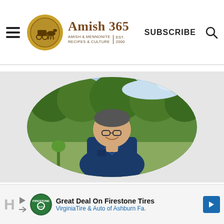[Figure (logo): Amish 365 website header with hamburger menu, circular logo with horse and buggy, site name and tagline, Subscribe button and search icon]
[Figure (photo): Oval-cropped photo of a smiling middle-aged man in a navy polo shirt standing in a garden/rural setting with trees and greenery in the background]
Great Deal On Firestone Tires  VirginiaTire & Auto of Ashburn Fa.